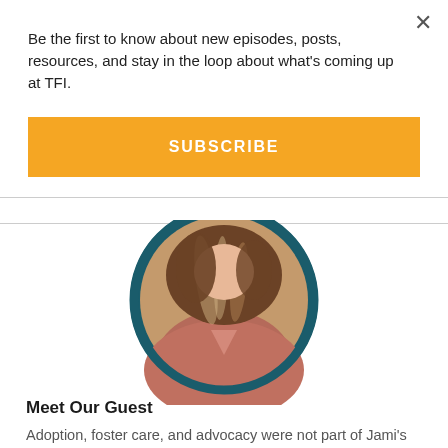Be the first to know about new episodes, posts, resources, and stay in the loop about what's coming up at TFI.
SUBSCRIBE
[Figure (photo): Circular cropped photo of a person with long hair, partially visible, showing head/shoulders area in warm tones. The image is clipped in a circle with a dark teal border.]
Meet Our Guest
Adoption, foster care, and advocacy were not part of Jami's dreams for her life, but God changed her heart when He made her aware, and she is passionate about helping others become aware too! She and her husband Clint are parents to their seven children (five through adoption).